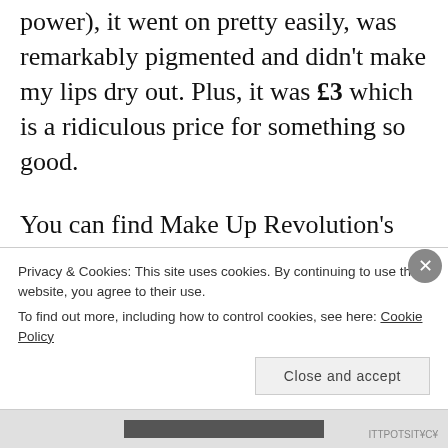power), it went on pretty easily, was remarkably pigmented and didn't make my lips dry out. Plus, it was £3 which is a ridiculous price for something so good.
You can find Make Up Revolution's products in most branches of Superdrug and I totally recommend picking a few of these up if you feel like experimenting with bold colours.
Privacy & Cookies: This site uses cookies. By continuing to use this website, you agree to their use. To find out more, including how to control cookies, see here: Cookie Policy